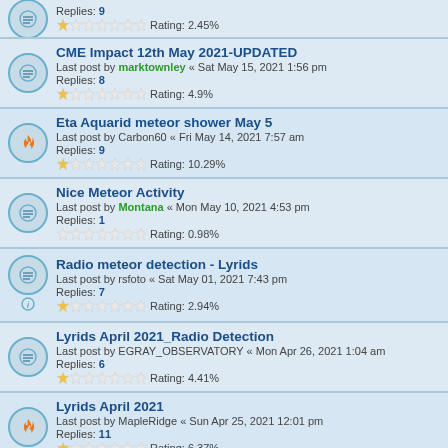Replies: 9 | Rating: 2.45%
CME Impact 12th May 2021-UPDATED | Last post by marktownley « Sat May 15, 2021 1:56 pm | Replies: 8 | Rating: 4.9%
Eta Aquarid meteor shower May 5 | Last post by Carbon60 « Fri May 14, 2021 7:57 am | Replies: 9 | Rating: 10.29%
Nice Meteor Activity | Last post by Montana « Mon May 10, 2021 4:53 pm | Replies: 1 | Rating: 0.98%
Radio meteor detection - Lyrids | Last post by rsfoto « Sat May 01, 2021 7:43 pm | Replies: 7 | Rating: 2.94%
Lyrids April 2021_Radio Detection | Last post by EGRAY_OBSERVATORY « Mon Apr 26, 2021 1:04 am | Replies: 6 | Rating: 4.41%
Lyrids April 2021 | Last post by MapleRidge « Sun Apr 25, 2021 12:01 pm | Replies: 11 | Rating: 6.37%
G1 Geomagnetic Storms 15-17th April 2021-Updated | Last post by marktownley « Wed Apr 21, 2021 7:56 pm